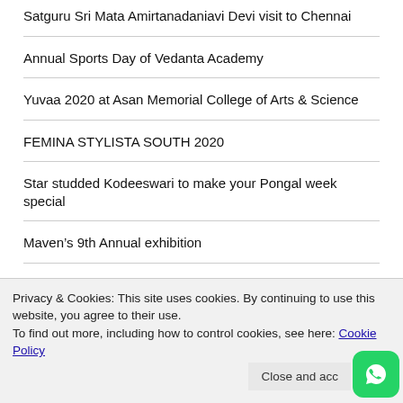Satguru Sri Mata Amirtanadaniavi Devi visit to Chennai
Annual Sports Day of Vedanta Academy
Yuvaa 2020 at Asan Memorial College of Arts & Science
FEMINA STYLISTA SOUTH 2020
Star studded Kodeeswari to make your Pongal week special
Maven’s 9th Annual exhibition
CHILD CLIMATE ACTIVIST IN CHENNAI
GIRL FINE ARTS – The Real Annual Music and Dance
Privacy & Cookies: This site uses cookies. By continuing to use this website, you agree to their use.
To find out more, including how to control cookies, see here: Cookie Policy
Close and acc